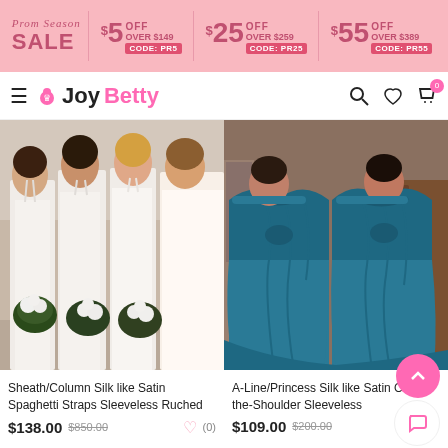[Figure (infographic): Prom Season Sale banner: $5 OFF OVER $149 CODE: PR5, $25 OFF OVER $259 CODE: PR25, $55 OFF OVER $389 CODE: PR55]
JoyBetty - navigation bar with hamburger menu, logo, search, account, wishlist (0), cart (0)
[Figure (photo): Group of bridesmaids wearing white sheath/column spaghetti strap dresses holding bouquets outdoors]
[Figure (photo): Two women wearing teal/blue off-the-shoulder A-line princess dresses indoors]
Sheath/Column Silk like Satin Spaghetti Straps Sleeveless Ruched
$138.00  $850.00  (0)
A-Line/Princess Silk like Satin Off-the-Shoulder Sleeveless
$109.00  $200.00  (0)